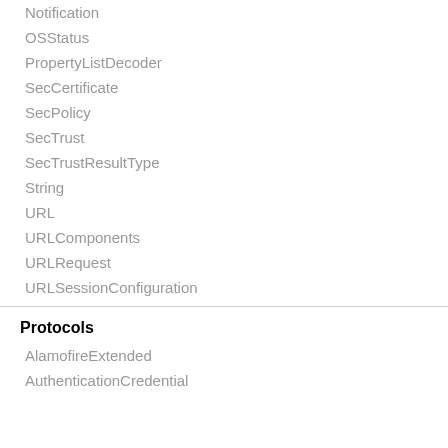Notification
OSStatus
PropertyListDecoder
SecCertificate
SecPolicy
SecTrust
SecTrustResultType
String
URL
URLComponents
URLRequest
URLSessionConfiguration
Protocols
AlamofireExtended
AuthenticationCredential